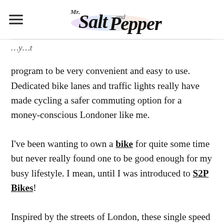Mr. Salt and Pepper
program to be very convenient and easy to use. Dedicated bike lanes and traffic lights really have made cycling a safer commuting option for a money-conscious Londoner like me.
I've been wanting to own a bike for quite some time but never really found one to be good enough for my busy lifestyle. I mean, until I was introduced to S2P Bikes!
Inspired by the streets of London, these single speed bicycles are very light, stylish and